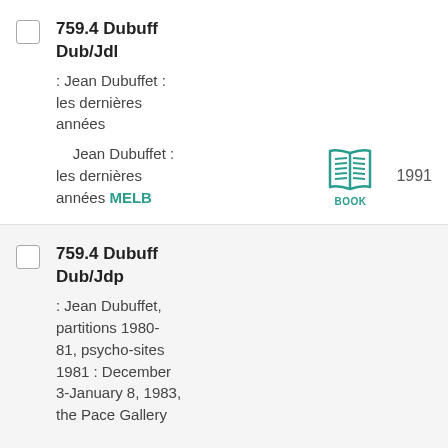759.4 Dubuff Dub/Jdl : Jean Dubuffet : les dernières années Jean Dubuffet : les dernières années MELB 1991
759.4 Dubuff Dub/Jdp : Jean Dubuffet, partitions 1980-81, psycho-sites 1981 : December 3-January 8, 1983, the Pace Gallery